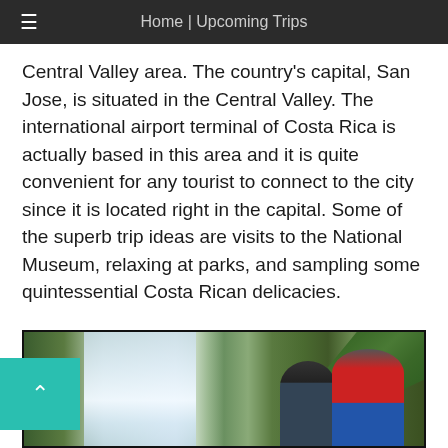Home | Upcoming Trips
Central Valley area. The country's capital, San Jose, is situated in the Central Valley. The international airport terminal of Costa Rica is actually based in this area and it is quite convenient for any tourist to connect to the city since it is located right in the capital. Some of the superb trip ideas are visits to the National Museum, relaxing at parks, and sampling some quintessential Costa Rican delicacies.
[Figure (photo): A waterfall surrounded by lush green tropical vegetation, with two tourists — one in a red jacket and one in dark clothing — looking up at the falls.]